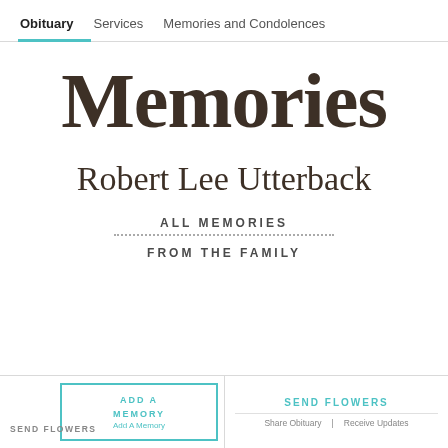Obituary | Services | Memories and Condolences
Memories
Robert Lee Utterback
ALL MEMORIES
FROM THE FAMILY
SEND FLOWERS | ADD A MEMORY Add A Memory | SEND FLOWERS | Share Obituary | Receive Updates